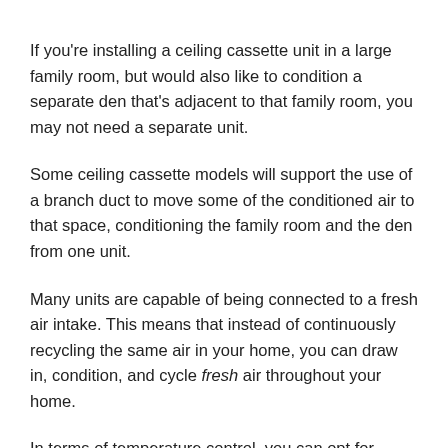If you're installing a ceiling cassette unit in a large family room, but would also like to condition a separate den that's adjacent to that family room, you may not need a separate unit.
Some ceiling cassette models will support the use of a branch duct to move some of the conditioned air to that space, conditioning the family room and the den from one unit.
Many units are capable of being connected to a fresh air intake. This means that instead of continuously recycling the same air in your home, you can draw in, condition, and cycle fresh air throughout your home.
In terms of temperature control, you can opt for either a